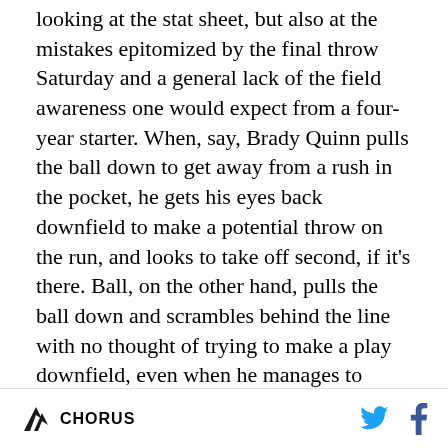looking at the stat sheet, but also at the mistakes epitomized by the final throw Saturday and a general lack of the field awareness one would expect from a four-year starter. When, say, Brady Quinn pulls the ball down to get away from a rush in the pocket, he gets his eyes back downfield to make a potential throw on the run, and looks to take off second, if it's there. Ball, on the other hand, pulls the ball down and scrambles behind the line with no thought of trying to make a play downfield, even when he manages to work his way into a little space outside the pocket. This happened Saturday on the eventual fumble returned for touchdown and on an earlier play in the first half, when Ball danced in the pocket and escaped, with virtually the entire defense chasing him and a receiver free and
CHORUS